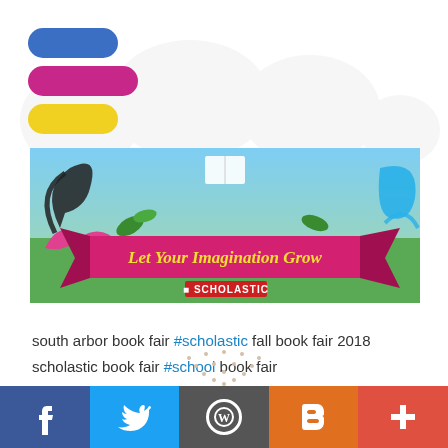[Figure (logo): Three stacked pill/capsule shapes in blue, pink/magenta, and yellow — app or brand logo]
[Figure (illustration): Scholastic Book Fair banner: 'Let Your Imagination Grow' with decorative swirls, birds, books, garden imagery, and Scholastic logo on a ribbon]
south arbor book fair #scholastic fall book fair 2018 scholastic book fair #school book fair
[Figure (other): Social media share bar with Facebook, Twitter, WordPress, Blogger, and plus icons]